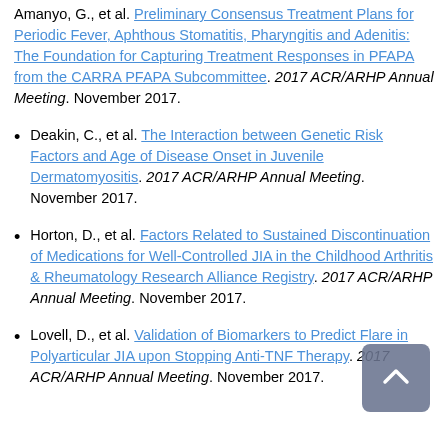Amanyo, G., et al. Preliminary Consensus Treatment Plans for Periodic Fever, Aphthous Stomatitis, Pharyngitis and Adenitis: The Foundation for Capturing Treatment Responses in PFAPA from the CARRA PFAPA Subcommittee. 2017 ACR/ARHP Annual Meeting. November 2017.
Deakin, C., et al. The Interaction between Genetic Risk Factors and Age of Disease Onset in Juvenile Dermatomyositis. 2017 ACR/ARHP Annual Meeting. November 2017.
Horton, D., et al. Factors Related to Sustained Discontinuation of Medications for Well-Controlled JIA in the Childhood Arthritis & Rheumatology Research Alliance Registry. 2017 ACR/ARHP Annual Meeting. November 2017.
Lovell, D., et al. Validation of Biomarkers to Predict Flare in Polyarticular JIA upon Stopping Anti-TNF Therapy. 2017 ACR/ARHP Annual Meeting. November 2017.